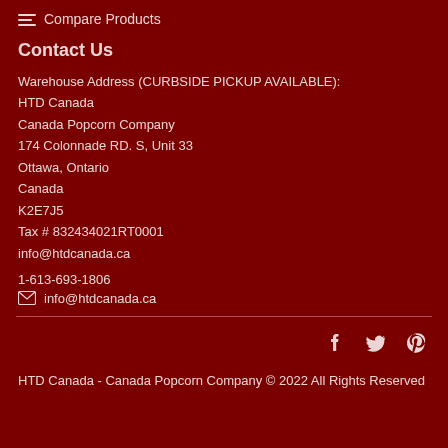Compare Products
Contact Us
Warehouse Address (CURBSIDE PICKUP AVAILABLE):
HTD Canada
Canada Popcorn Company
174 Colonnade RD. S, Unit 33
Ottawa, Ontario
Canada
K2E7J5
Tax # 832434021RT0001
info@htdcanada.ca

1-613-693-1806

info@htdcanada.ca
HTD Canada - Canada Popcorn Company © 2022 All Rights Reserved